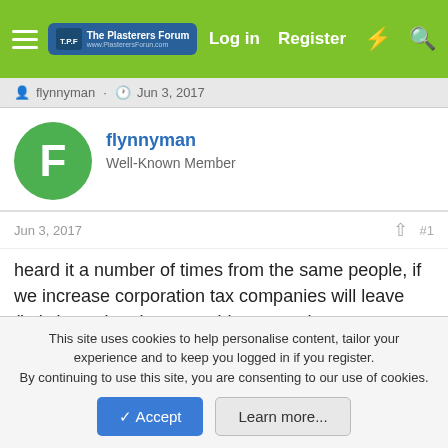The Plasterers Forum — Log in  Register
flynnyman · Jun 3, 2017
flynnyman
Well-Known Member
Jun 3, 2017  #1
heard it a number of times from the same people, if we increase corporation tax companies will leave (let's leave brexit to one side coz we know companies are leaving). Here are five reasons they won't so if you want to get involved in this thread? atleast read the link.

Let's hear the same voices saying they will leave, give us their
This site uses cookies to help personalise content, tailor your experience and to keep you logged in if you register.
By continuing to use this site, you are consenting to our use of cookies.